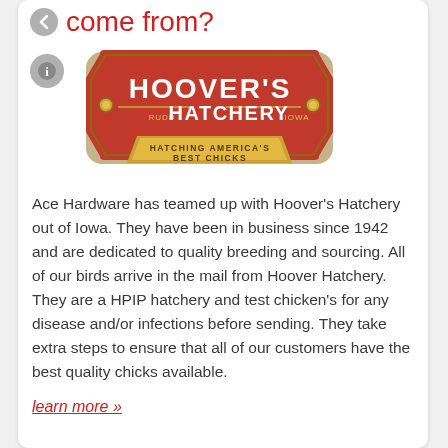come from?
[Figure (logo): Hoover's Hatchery logo — red badge shape with gold banner reading 'HATCHING AMERICA'S BEST CHICKS', text reads 'HOOVER'S HATCHERY RUDD IOWA']
Ace Hardware has teamed up with Hoover's Hatchery out of Iowa. They have been in business since 1942 and are dedicated to quality breeding and sourcing. All of our birds arrive in the mail from Hoover Hatchery. They are a HPIP hatchery and test chicken's for any disease and/or infections before sending. They take extra steps to ensure that all of our customers have the best quality chicks available.
learn more »